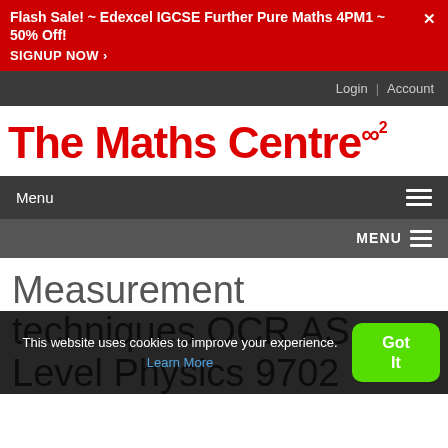Flash Sale! ~ Edexcel IGCSE Further Pure Maths 4PM1 ~ 50% Off! SIGNUP NOW ›
Login | Account
[Figure (logo): The Maths Centre logo with infinity-squared superscript in red on white background]
Menu ☰
MENU ☰
Measurement techniques OCR AS Level Physics 9702
This website uses cookies to improve your experience. Learn More
Got It